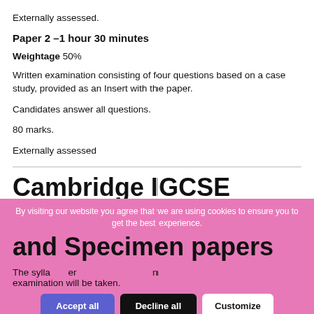Externally assessed.
Paper 2 –1 hour 30 minutes
Weightage 50%
Written examination consisting of four questions based on a case study, provided as an Insert with the paper.
Candidates answer all questions.
80 marks.
Externally assessed
Cambridge IGCSE Syllabus and Specimen papers
The syllabus er n examination will be taken.
By visiting our website you agree that we are using cookies to ensure you to get the best experience.